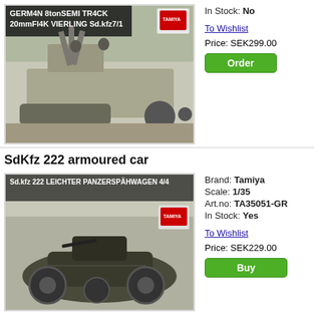[Figure (photo): Box art photo of German 8ton Semi Track 20mm Fl4K Vierling Sd.kfz 7/1 Tamiya model kit]
In Stock: No
To Wishlist
Price: SEK299.00
Order
SdKfz 222 armoured car
[Figure (photo): Box art photo of Sd.kfz 222 Leichter Panzerspahwagen 4/4 Tamiya model kit]
Brand: Tamiya
Scale: 1/35
Art.no: TA35051-GR
In Stock: Yes
To Wishlist
Price: SEK229.00
Buy